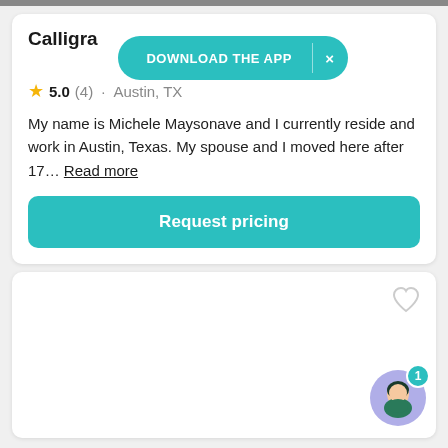Calligra
DOWNLOAD THE APP
5.0 (4) · Austin, TX
My name is Michele Maysonave and I currently reside and work in Austin, Texas. My spouse and I moved here after 17… Read more
Request pricing
[Figure (screenshot): Second card with heart icon and chat bubble avatar with badge showing 1]